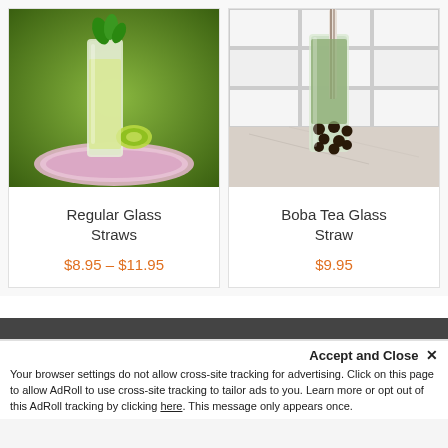[Figure (photo): A tall glass of pale yellow lemonade drink garnished with lime and fresh mint leaves, sitting on a decorative floral plate outdoors with green bokeh background]
Regular Glass Straws
$8.95 – $11.95
[Figure (photo): A tall glass of green matcha boba tea with black tapioca pearls at the bottom and a striped paper straw, on a marble surface against white subway tile wall]
Boba Tea Glass Straw
$9.95
Accept and Close ✕
Your browser settings do not allow cross-site tracking for advertising. Click on this page to allow AdRoll to use cross-site tracking to tailor ads to you. Learn more or opt out of this AdRoll tracking by clicking here. This message only appears once.